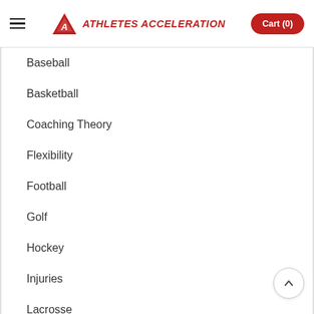ATHLETES ACCELERATION — Cart (0)
Baseball
Basketball
Coaching Theory
Flexibility
Football
Golf
Hockey
Injuries
Lacrosse
Mental Training/Coaching
Nutrition